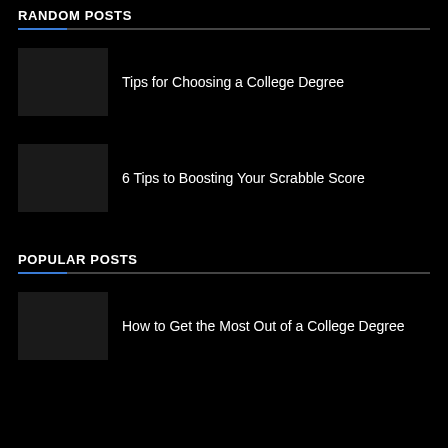RANDOM POSTS
Tips for Choosing a College Degree
6 Tips to Boosting Your Scrabble Score
POPULAR POSTS
How to Get the Most Out of a College Degree